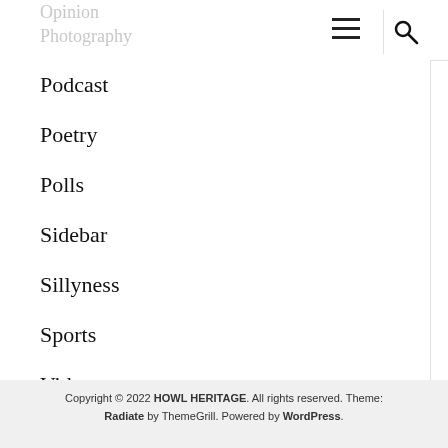Podcast
Poetry
Polls
Sidebar
Sillyness
Sports
Video
Copyright © 2022 HOWL HERITAGE. All rights reserved. Theme: Radiate by ThemeGrill. Powered by WordPress.